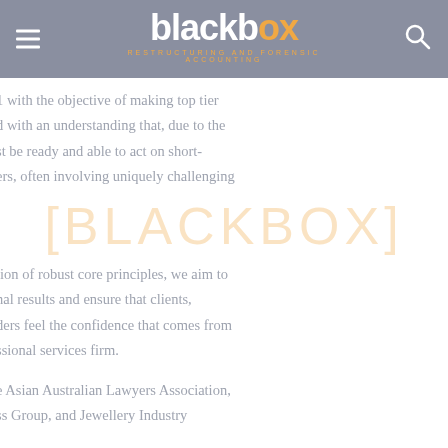[Figure (logo): Blackbox Restructuring and Forensic Accounting logo with hamburger menu and search icon on grey header bar]
1 with the objective of making top tier
d with an understanding that, due to the
st be ready and able to act on short-
ers, often involving uniquely challenging
[Figure (other): [BLACKBOX] watermark text in orange]
tion of robust core principles, we aim to
nal results and ensure that clients,
ders feel the confidence that comes from
ssional services firm.
e Asian Australian Lawyers Association,
ss Group, and Jewellery Industry